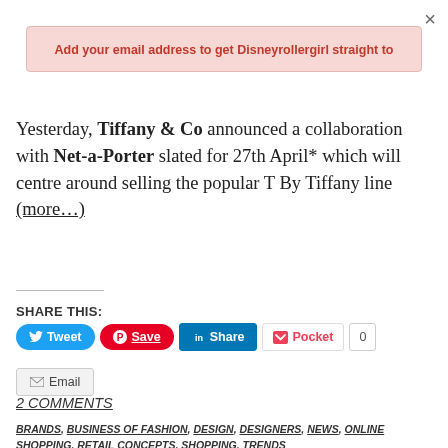×
Add your email address to get Disneyrollergirl straight to
Yesterday, Tiffany & Co announced a collaboration with Net-a-Porter slated for 27th April* which will centre around selling the popular T By Tiffany line (more…)
SHARE THIS:
Tweet | Save | Share | Pocket 0 | Email
2 COMMENTS
BRANDS, BUSINESS OF FASHION, DESIGN, DESIGNERS, NEWS, ONLINE SHOPPING, RETAIL CONCEPTS, SHOPPING, TRENDS